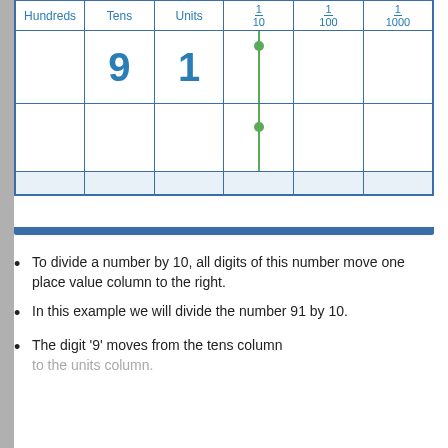[Figure (other): Place value chart showing columns: Hundreds, Tens, Units, 1/10, 1/100, 1/1000. The digit 9 is in the Tens column and 1 is in the Units column. A green vertical line with two dots connects the Units and 1/10 columns, indicating movement between rows.]
To divide a number by 10, all digits of this number move one place value column to the right.
In this example we will divide the number 91 by 10.
The digit '9' moves from the tens column to the units column.